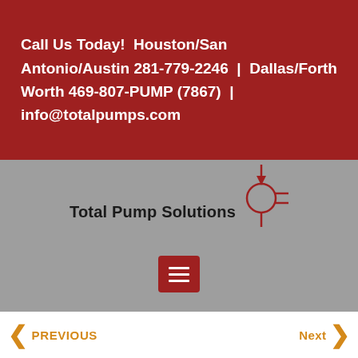Call Us Today!  Houston/San Antonio/Austin 281-779-2246  |  Dallas/Forth Worth 469-807-PUMP (7867)  |  info@totalpumps.com
[Figure (logo): Total Pump Solutions logo with pump symbol graphic and bold text]
< PREVIOUS
Next >